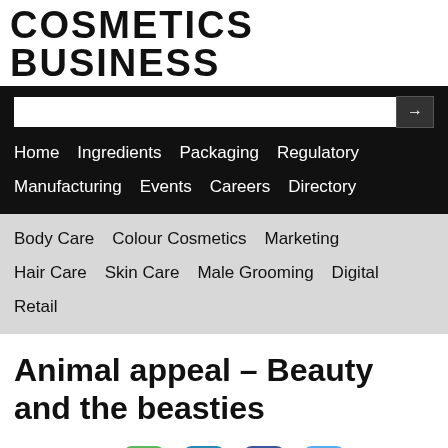COSMETICS BUSINESS
[Figure (screenshot): Navigation bar with search box and arrow button on black background, with menu items: Home, Ingredients, Packaging, Regulatory, Manufacturing, Events, Careers, Directory]
[Figure (screenshot): Secondary navigation bar on grey background with items: Body Care, Colour Cosmetics, Marketing, Hair Care, Skin Care, Male Grooming, Digital, Retail]
Animal appeal – Beauty and the beasties
31-May-2013
Ingredients | Skin Care